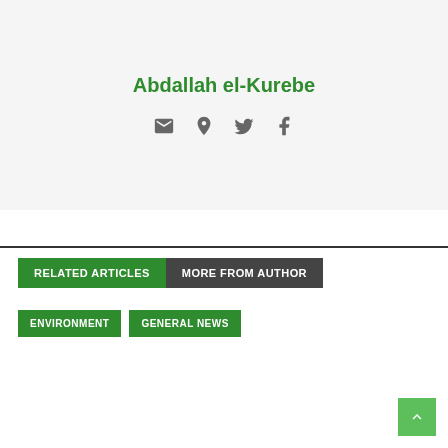Abdallah el-Kurebe
[Figure (other): Social media icons: email, location/globe, twitter, facebook]
RELATED ARTICLES  MORE FROM AUTHOR
ENVIRONMENT
GENERAL NEWS